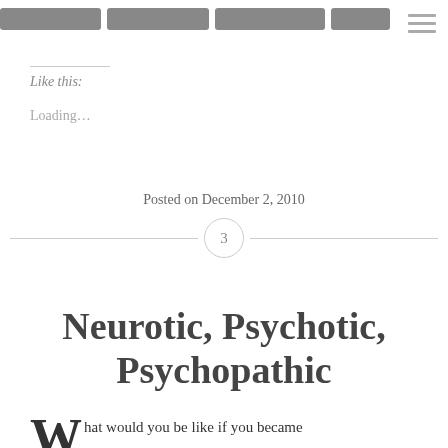[Figure (other): Navigation bar with four grey rounded rectangle buttons and a hamburger menu icon on the right]
Like this:
Loading...
Posted on December 2, 2010
3
Neurotic, Psychotic, Psychopathic
hat would you be like if you became